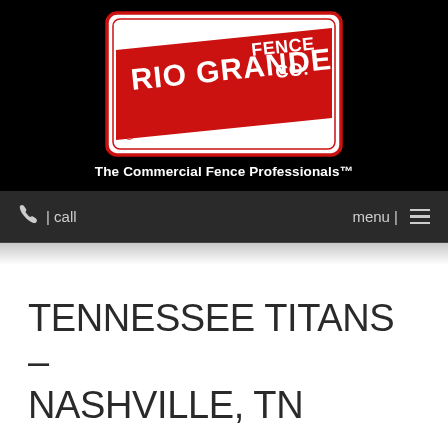[Figure (logo): Rio Grande Fence Co. logo — red and white rectangular sign with diagonal red stripe, text 'RIO GRANDE FENCE CO.' with registered trademark symbol]
The Commercial Fence Professionals™
☎ | call    menu | ≡
TENNESSEE TITANS – NASHVILLE, TN
Rio Grande Fence Co. of Nashville is chosen time and time again to provide